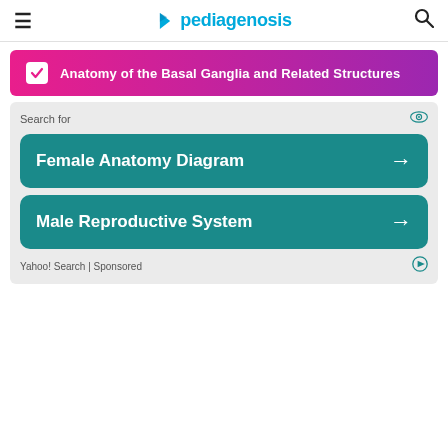pediagenosis
Anatomy of the Basal Ganglia and Related Structures
Search for
[Figure (screenshot): Advertisement panel with two teal buttons: 'Female Anatomy Diagram' and 'Male Reproductive System' with right arrows. Yahoo! Search | Sponsored label at bottom.]
Yahoo! Search | Sponsored